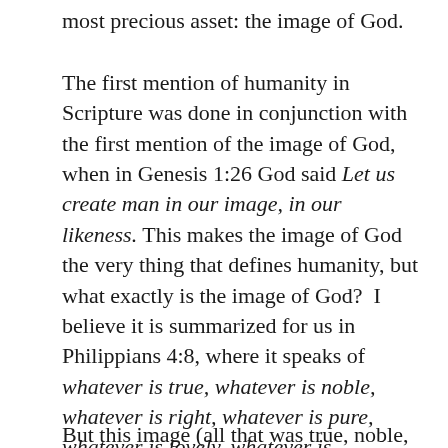most precious asset: the image of God.
The first mention of humanity in Scripture was done in conjunction with the first mention of the image of God, when in Genesis 1:26 God said Let us create man in our image, in our likeness. This makes the image of God the very thing that defines humanity, but what exactly is the image of God?  I believe it is summarized for us in Philippians 4:8, where it speaks of whatever is true, whatever is noble, whatever is right, whatever is pure, whatever is lovely, whatever is admirable, excellent and praiseworthy.  It is all that stirs the human heart and mind upward toward reason, honor and things dignified.
But this image (all that was true, noble, right